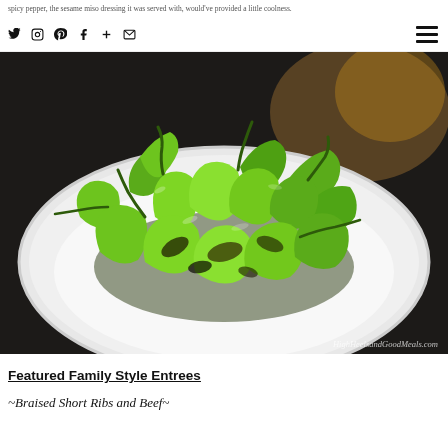spicy pepper, the sesame miso dressing it was served with, would've provided a little coolness.
[Figure (photo): A plate of blistered shishito peppers piled on a white plate, photographed in a dark restaurant setting. Watermark reads HighHeelsandGoodMeals.com]
Featured Family Style Entrees
~Braised Short Ribs and Beef~